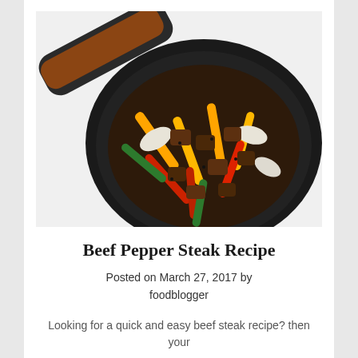[Figure (photo): A black skillet pan filled with beef pepper steak stir-fry showing sliced beef pieces, red, green, yellow and orange bell pepper strips, and white onion slices in a dark sauce, with the pan handle visible in the upper left.]
Beef Pepper Steak Recipe
Posted on March 27, 2017 by
foodblogger
Looking for a quick and easy beef steak recipe? then your